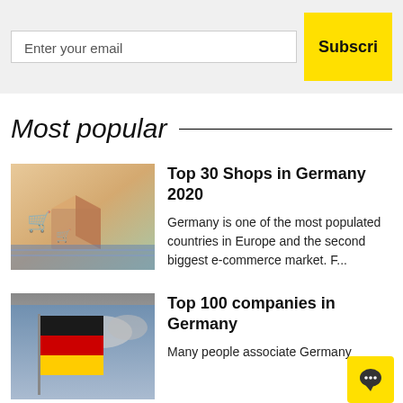Enter your email
Subscri
Most popular
Top 30 Shops in Germany 2020
Germany is one of the most populated countries in Europe and the second biggest e-commerce market. F...
[Figure (photo): Shopping boxes with cart icons on a keyboard, warm tones]
Top 100 companies in Germany
Many people associate Germany
[Figure (photo): German flag (black, red, gold) against cloudy sky]